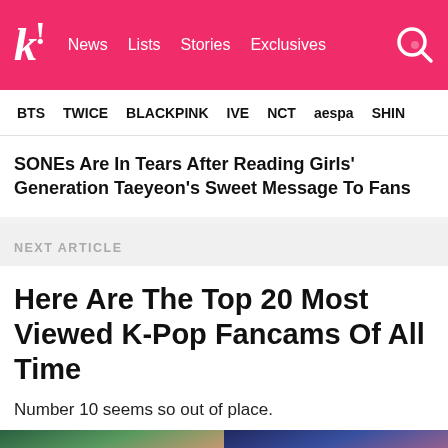k! News Lists Stories Exclusives
BTS TWICE BLACKPINK IVE NCT aespa SHIN
SONEs Are In Tears After Reading Girls' Generation Taeyeon's Sweet Message To Fans
NEXT ARTICLE
Here Are The Top 20 Most Viewed K-Pop Fancams Of All Time
Number 10 seems so out of place.
[Figure (photo): Two side-by-side thumbnail images showing K-Pop fancam performers, labeled Number 6 and Number 2]